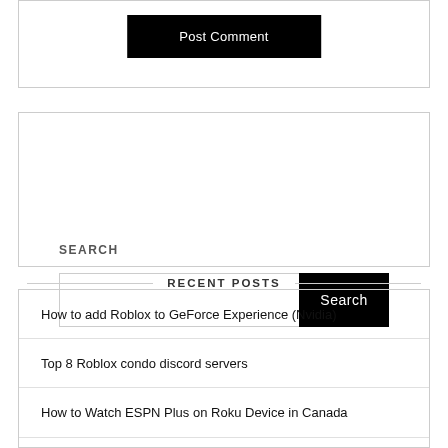[Figure (screenshot): Post Comment button - black button with white text centered in a bordered box]
SEARCH
[Figure (screenshot): Search input field with a black Search button on the right, inside a bordered box]
RECENT POSTS
How to add Roblox to GeForce Experience (Nvidia)
Top 8 Roblox condo discord servers
How to Watch ESPN Plus on Roku Device in Canada